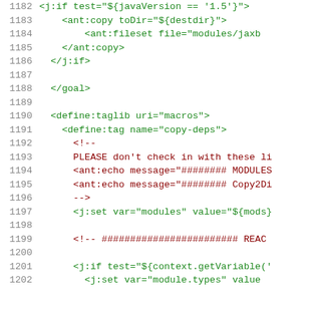Source code listing lines 1182-1202 showing XML/Ant build script with j:if, ant:copy, ant:fileset, goal, define:taglib, define:tag, j:set tags and XML comments